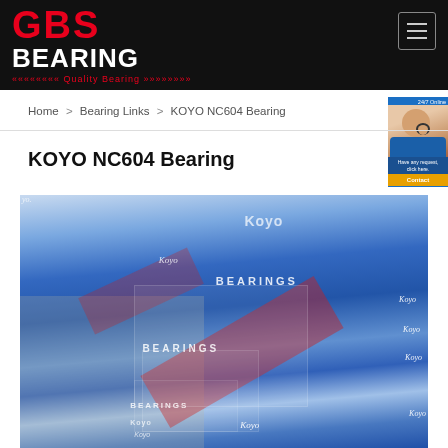GBS BEARING — Quality Bearing
Home > Bearing Links > KOYO NC604 Bearing
KOYO NC604 Bearing
[Figure (photo): Photograph of multiple Koyo brand bearing boxes stacked together, showing blue and red packaging with 'Koyo BEARINGS' text printed on the boxes.]